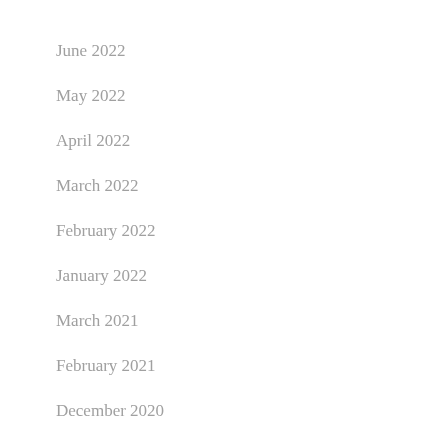June 2022
May 2022
April 2022
March 2022
February 2022
January 2022
March 2021
February 2021
December 2020
November 2020